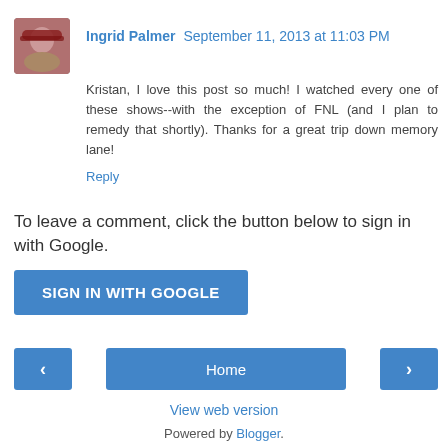[Figure (photo): Avatar photo of Ingrid Palmer, a person wearing a red hat]
Ingrid Palmer September 11, 2013 at 11:03 PM
Kristan, I love this post so much! I watched every one of these shows--with the exception of FNL (and I plan to remedy that shortly). Thanks for a great trip down memory lane!
Reply
To leave a comment, click the button below to sign in with Google.
SIGN IN WITH GOOGLE
Home
View web version
Powered by Blogger.